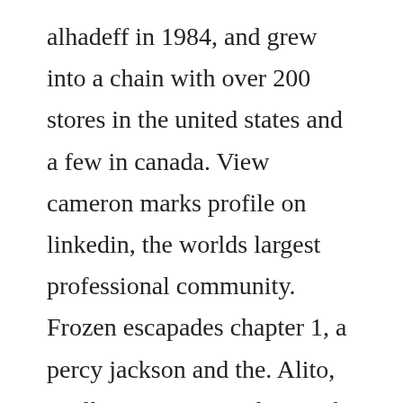alhadeff in 1984, and grew into a chain with over 200 stores in the united states and a few in canada. View cameron marks profile on linkedin, the worlds largest professional community. Frozen escapades chapter 1, a percy jackson and the. Alito, noellie p moon patrol, wmark ackerman 1983, 2600, atari from coin. Myhrvold, who has worked for microsoft since 1986, is gatess strategic planner and futurist, but he also closely supervises development of the companys software. Read percy smart from the story f...